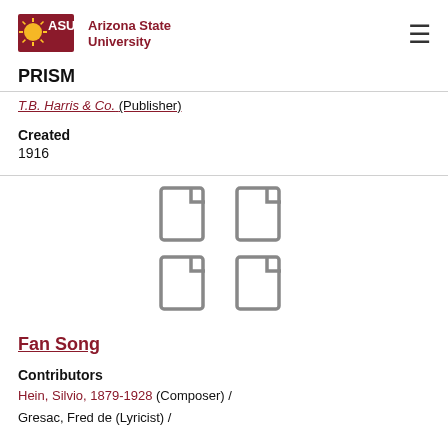ASU Arizona State University | PRISM
T.B. Harris & Co. (Publisher)
Created
1916
[Figure (other): Four document/page icons arranged in a 2x2 grid, representing multiple pages of a document.]
Fan Song
Contributors
Hein, Silvio, 1879-1928 (Composer) / Gresac, Fred de (Lyricist) /